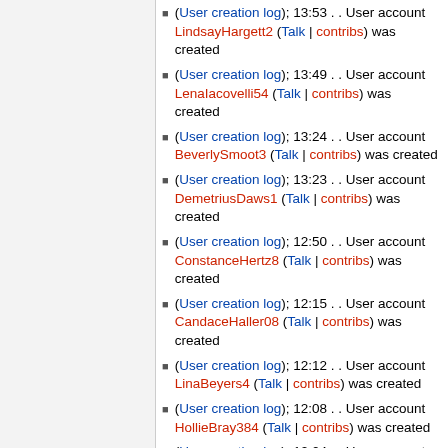(User creation log); 13:53 . . User account LindsayHargett2 (Talk | contribs) was created
(User creation log); 13:49 . . User account LenaIacovelli54 (Talk | contribs) was created
(User creation log); 13:24 . . User account BeverlySmoot3 (Talk | contribs) was created
(User creation log); 13:23 . . User account DemetriusDaws1 (Talk | contribs) was created
(User creation log); 12:50 . . User account ConstanceHertz8 (Talk | contribs) was created
(User creation log); 12:15 . . User account CandaceHaller08 (Talk | contribs) was created
(User creation log); 12:12 . . User account LinaBeyers4 (Talk | contribs) was created
(User creation log); 12:08 . . User account HollieBray384 (Talk | contribs) was created
(User creation log); 12:04 . . User account BarbraFernandes (Talk | contribs) was created